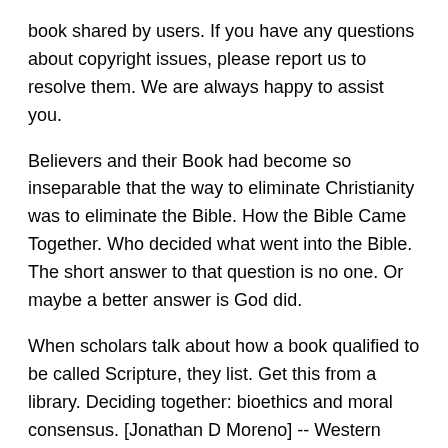book shared by users. If you have any questions about copyright issues, please report us to resolve them. We are always happy to assist you.
Believers and their Book had become so inseparable that the way to eliminate Christianity was to eliminate the Bible. How the Bible Came Together. Who decided what went into the Bible. The short answer to that question is no one. Or maybe a better answer is God did.
When scholars talk about how a book qualified to be called Scripture, they list. Get this from a library. Deciding together: bioethics and moral consensus. [Jonathan D Moreno] -- Western society today is less unified by a set of core values than ever before.
Undoubtedly, the concept of moral consensus is a difficult one in a liberal, democratic and. Western society today is less unified by a set of core values than ever before.
Undoubtedly, the concept of moral consensus is a difficult one in a liberal, democratic and pluralistic society. But it is imperative to avoid a